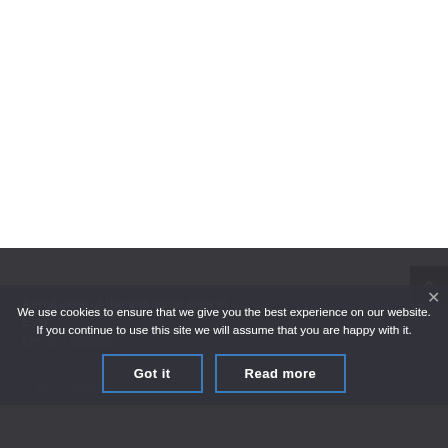[Figure (screenshot): White area representing a product image placeholder at the top of the page]
Aerial view of the industrial area in Eski...
€75,00 – €500,00
Select options
♡ Add to wishlist
We use cookies to ensure that we give you the best experience on our website. If you continue to use this site we will assume that you are happy with it.
Got it
Read more